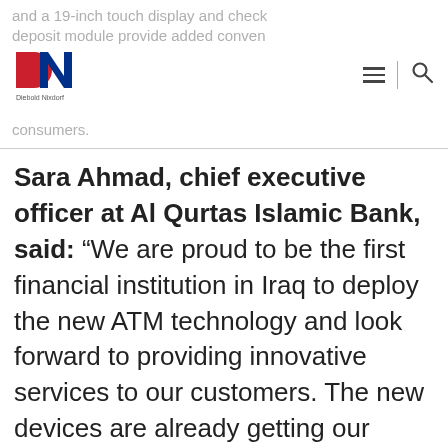and a 19-inch touch display and check deposit module provide added convenience to consumers.
Sara Ahmad, chief executive officer at Al Qurtas Islamic Bank, said: “We are proud to be the first financial institution in Iraq to deploy the new ATM technology and look forward to providing innovative services to our customers. The new devices are already getting our customers’ attention, and in our next phase, the ATM’s integrated cash recycling capabilities will enable us to optimize cash handling and provide our customers with innovative technology that